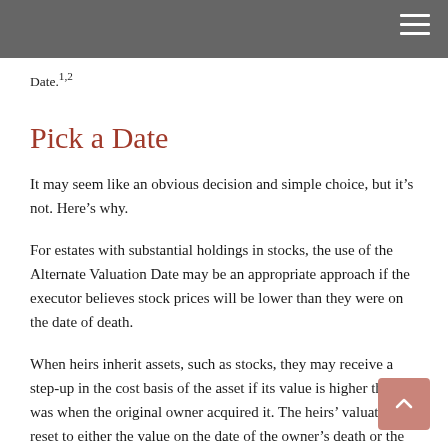Date.¹1²
Pick a Date
It may seem like an obvious decision and simple choice, but it’s not. Here’s why.
For estates with substantial holdings in stocks, the use of the Alternate Valuation Date may be an appropriate approach if the executor believes stock prices will be lower than they were on the date of death.
When heirs inherit assets, such as stocks, they may receive a step-up in the cost basis of the asset if its value is higher than it was when the original owner acquired it. The heirs’ valuation is reset to either the value on the date of the owner’s death or the value on the Alternate Valuation Date – which are in the end both the same tax³